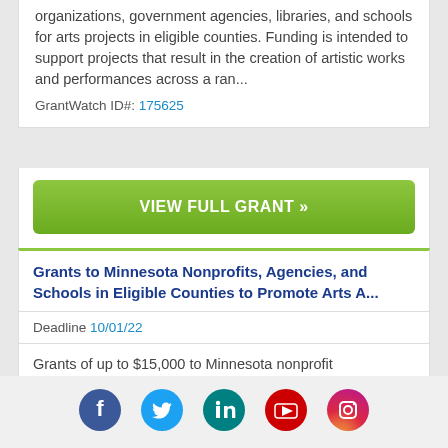organizations, government agencies, libraries, and schools for arts projects in eligible counties. Funding is intended to support projects that result in the creation of artistic works and performances across a ran...
GrantWatch ID#: 175625
VIEW FULL GRANT »
Grants to Minnesota Nonprofits, Agencies, and Schools in Eligible Counties to Promote Arts A...
Deadline 10/01/22
Grants of up to $15,000 to Minnesota nonprofit organizations, government agencies, and schools for arts related activities in eligible counties. Funding is intended to support the creation of a strong community arts legacy by promoting arts and cultural heritage, arts ...
[Figure (other): Social media icons row: Facebook (blue circle), Twitter (light blue circle), LinkedIn (teal circle), YouTube (red circle), Instagram (gradient circle)]